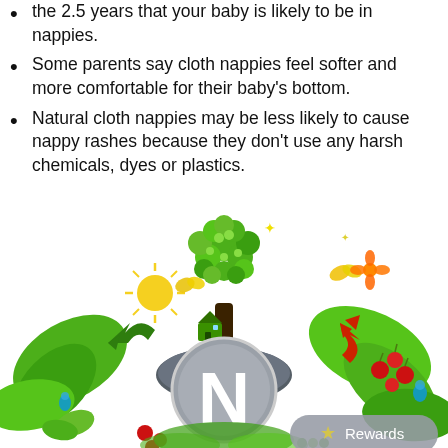the 2.5 years that your baby is likely to be in nappies.
Some parents say cloth nappies feel softer and more comfortable for their baby's bottom.
Natural cloth nappies may be less likely to cause nappy rashes because they don't use any harsh chemicals, dyes or plastics.
[Figure (illustration): Eco-friendly green illustration featuring a tree made of green circles, large leaves, a small house, red berries, blue water drops, a sun, butterflies, recycling arrows, and a central grey circular logo with a large white letter N. A Rewards button appears in the bottom right corner.]